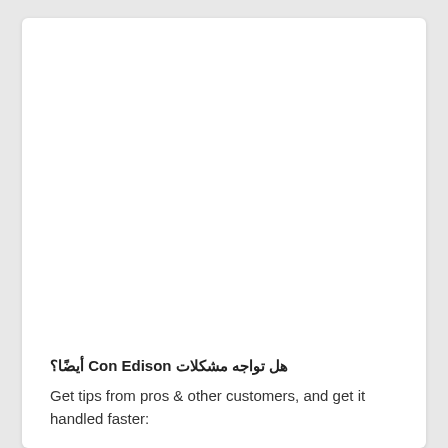أيضًا؟ Con Edison هل تواجه مشكلات
Get tips from pros & other customers, and get it handled faster: